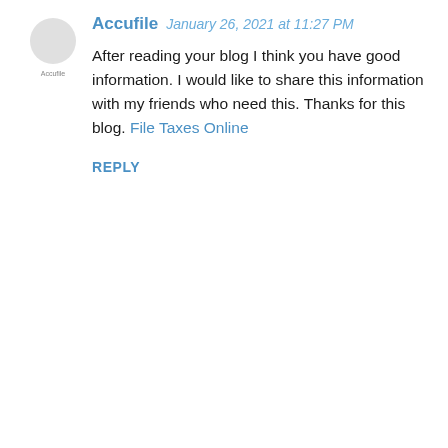[Figure (other): Small circular avatar icon for user Accufile]
Accufile   January 26, 2021 at 11:27 PM
After reading your blog I think you have good information. I would like to share this information with my friends who need this. Thanks for this blog. File Taxes Online
REPLY